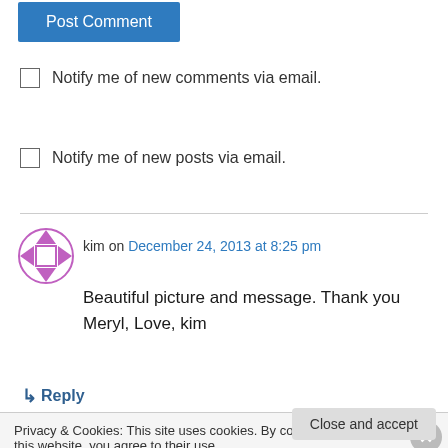[Figure (other): Post Comment button (blue)]
Notify me of new comments via email.
Notify me of new posts via email.
kim on December 24, 2013 at 8:25 pm
Beautiful picture and message. Thank you Meryl, Love, kim
↳ Reply
Privacy & Cookies: This site uses cookies. By continuing to use this website, you agree to their use.
To find out more, including how to control cookies, see here: Cookie Policy
Close and accept